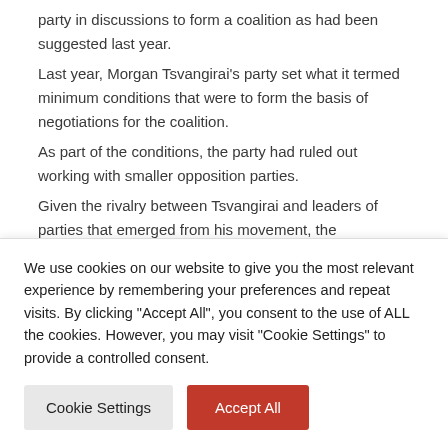party in discussions to form a coalition as had been suggested last year. Last year, Morgan Tsvangirai's party set what it termed minimum conditions that were to form the basis of negotiations for the coalition. As part of the conditions, the party had ruled out working with smaller opposition parties. Given the rivalry between Tsvangirai and leaders of parties that emerged from his movement, the preconditions had been seen as meant to push away Tendai Biti and Welshman Ncube from the negotiating table.
We use cookies on our website to give you the most relevant experience by remembering your preferences and repeat visits. By clicking "Accept All", you consent to the use of ALL the cookies. However, you may visit "Cookie Settings" to provide a controlled consent.